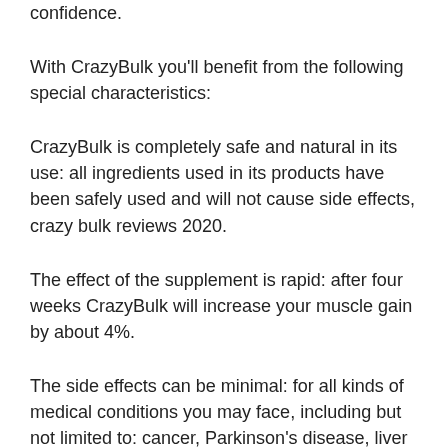confidence.
With CrazyBulk you'll benefit from the following special characteristics:
CrazyBulk is completely safe and natural in its use: all ingredients used in its products have been safely used and will not cause side effects, crazy bulk reviews 2020.
The effect of the supplement is rapid: after four weeks CrazyBulk will increase your muscle gain by about 4%.
The side effects can be minimal: for all kinds of medical conditions you may face, including but not limited to: cancer, Parkinson's disease, liver problems, high blood pressure, diabetes, hypertension and menstrual problems, crazybulk dbal. You could also lose your appetite for this supplement which isn't a major issue if you